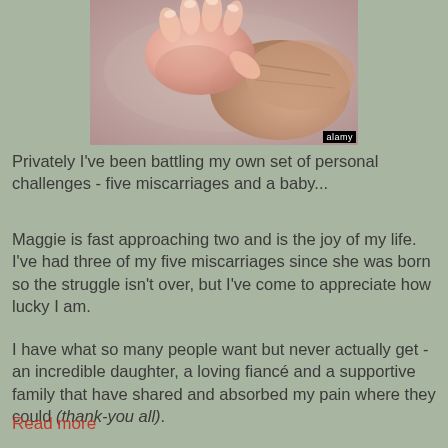[Figure (photo): Close-up photo of a baby's small hand gripping an adult's finger, warm skin tones against a soft background. Alamy watermark in bottom-right corner.]
Privately I've been battling my own set of personal challenges - five miscarriages and a baby...
Maggie is fast approaching two and is the joy of my life. I've had three of my five miscarriages since she was born so the struggle isn't over, but I've come to appreciate how lucky I am.
I have what so many people want but never actually get - an incredible daughter, a loving fiancé and a supportive family that have shared and absorbed my pain where they could (thank-you all).
Read more